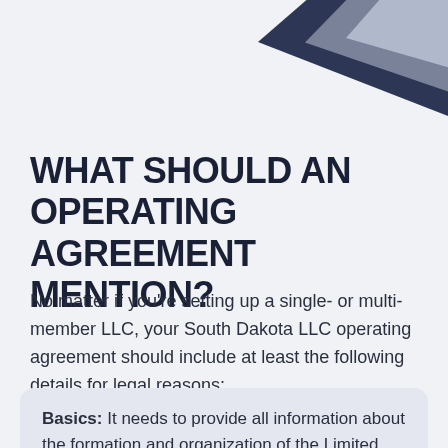WHAT SHOULD AN OPERATING AGREEMENT MENTION?
No matter if you're setting up a single- or multi-member LLC, your South Dakota LLC operating agreement should include at least the following details for legal reasons:
Basics: It needs to provide all information about the formation and organization of the Limited Liability Company, including the date